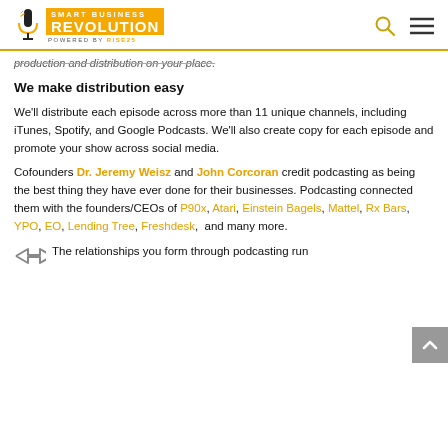Smart Business Revolution | Powered by Rise25
production and distribution on your place.
We make distribution easy
We'll distribute each episode across more than 11 unique channels, including iTunes, Spotify, and Google Podcasts. We'll also create copy for each episode and promote your show across social media.
Cofounders Dr. Jeremy Weisz and John Corcoran credit podcasting as being the best thing they have ever done for their businesses. Podcasting connected them with the founders/CEOs of P90x, Atari, Einstein Bagels, Mattel, Rx Bars, YPO, EO, Lending Tree, Freshdesk, and many more.
The relationships you form through podcasting run